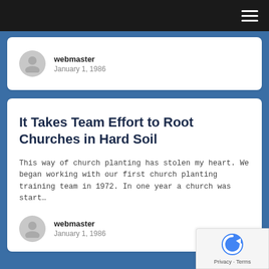Navigation bar with hamburger menu
webmaster
January 1, 1986
It Takes Team Effort to Root Churches in Hard Soil
This way of church planting has stolen my heart. We began working with our first church planting training team in 1972. In one year a church was start...
webmaster
January 1, 1986